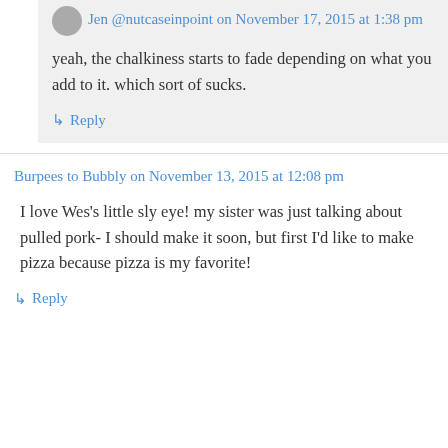Jen @nutcaseinpoint on November 17, 2015 at 1:38 pm
yeah, the chalkiness starts to fade depending on what you add to it. which sort of sucks.
↳ Reply
Burpees to Bubbly on November 13, 2015 at 12:08 pm
I love Wes's little sly eye! my sister was just talking about pulled pork- I should make it soon, but first I'd like to make pizza because pizza is my favorite!
↳ Reply